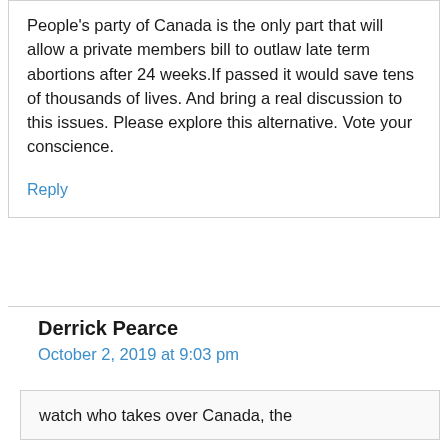People's party of Canada is the only part that will allow a private members bill to outlaw late term abortions after 24 weeks.If passed it would save tens of thousands of lives. And bring a real discussion to this issues. Please explore this alternative. Vote your conscience.
Reply
Derrick Pearce
October 2, 2019 at 9:03 pm
watch who takes over Canada, the